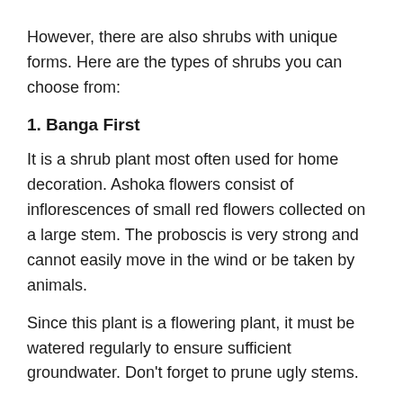However, there are also shrubs with unique forms. Here are the types of shrubs you can choose from:
1. Banga First
It is a shrub plant most often used for home decoration. Ashoka flowers consist of inflorescences of small red flowers collected on a large stem. The proboscis is very strong and cannot easily move in the wind or be taken by animals.
Since this plant is a flowering plant, it must be watered regularly to ensure sufficient groundwater. Don’t forget to prune ugly stems.
2. Ramboza Mini
This plant is also very famous for home decoration. Many people plant mini rambos in their small home gardens to create a special accent. Mini Rambosa